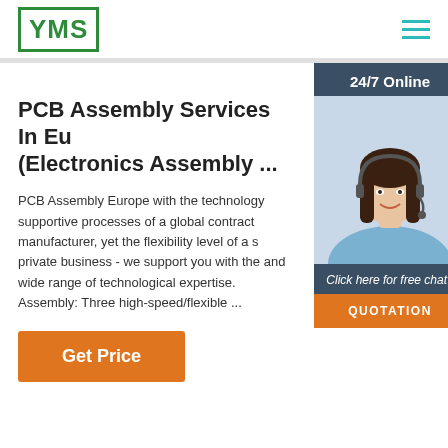[Figure (logo): YMS logo in green box, top-left header]
[Figure (other): Hamburger menu icon (three teal horizontal lines) top-right]
PCB Assembly Services In Eu (Electronics Assembly ...
PCB Assembly Europe with the technology supportive processes of a global contract manufacturer, yet the flexibility level of a s private business - we support you with the and wide range of technological expertise. Assembly: Three high-speed/flexible ...
[Figure (infographic): 24/7 Online customer support panel on right side with woman wearing headset, dark blue background, chat invite text, and orange QUOTATION button]
Get Price